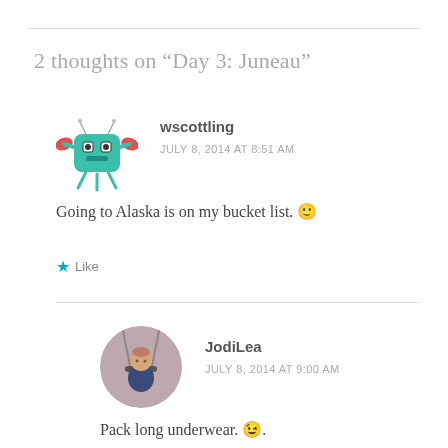2 thoughts on “Day 3: Juneau”
[Figure (illustration): Avatar of wscottling: cartoon green crab-like creature with red claws]
wscottling
JULY 8, 2014 AT 8:51 AM
Going to Alaska is on my bucket list. 🙂
Like
[Figure (photo): Avatar of JodiLea: baby in a swing, circular cropped photo]
JodiLea
JULY 8, 2014 AT 9:00 AM
Pack long underwear. 😉.